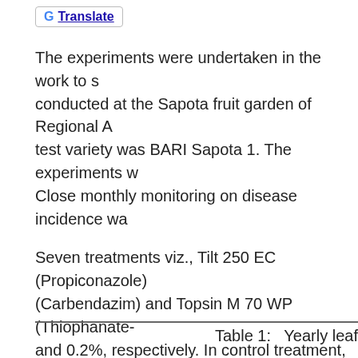[Figure (logo): Google Translate button with G logo and underlined Translate text]
The experiments were undertaken in the work to s... conducted at the Sapota fruit garden of Regional A... test variety was BARI Sapota 1. The experiments w... Close monthly monitoring on disease incidence wa...
Seven treatments viz., Tilt 250 EC (Propiconazole)... (Carbendazim) and Topsin M 70 WP (Thiophanate-... and 0.2%, respectively. In control treatment, no fu... (November-January). Irrigation and other cultural c... Hathazari, Chittagong. Data on the percent of spo... by counting spotted leaves and visual estimation, ... tested by Duncan's new multiple range test (DMRT...
Table 1:   Yearly leaf